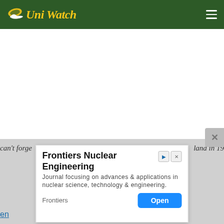Uni Watch
[Figure (screenshot): Uni Watch website screenshot showing the green header with logo and hamburger menu, white main content area, gray background at bottom with partial text visible, and a Frontiers Nuclear Engineering advertisement overlay]
can't forge ... land in 19
en
Frontiers Nuclear Engineering
Journal focusing on advances & applications in nuclear science, technology & engineering.
Frontiers
Open